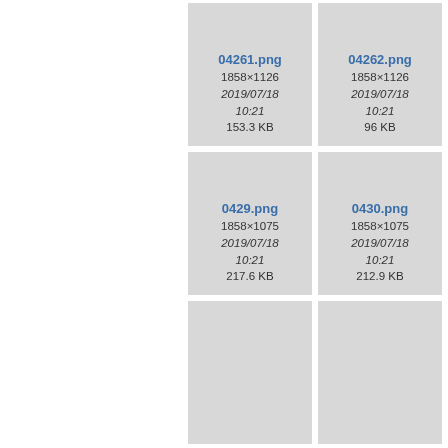[Figure (screenshot): File browser thumbnail grid showing image file cards. Row 1: 04261.png (1858×1126, 2019/07/18 10:21, 153.3 KB), 04262.png (1858×1126, 2019/07/18 10:21, 96 KB), partial third card. Row 2: 0429.png (1858×1075, 2019/07/18 10:21, 217.6 KB), 0430.png (1858×1075, 2019/07/18 10:21, 212.9 KB), partial third card. Row 3: two partial cards visible at bottom.]